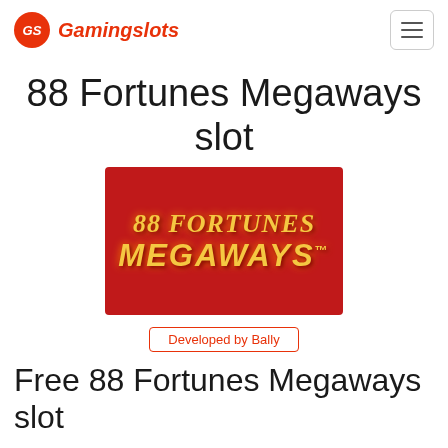GS Gamingslots
88 Fortunes Megaways slot
[Figure (logo): 88 Fortunes Megaways slot game logo on a red background with gold stylized text reading '88 FORTUNES MEGAWAYS™']
Developed by Bally
Free 88 Fortunes Megaways slot